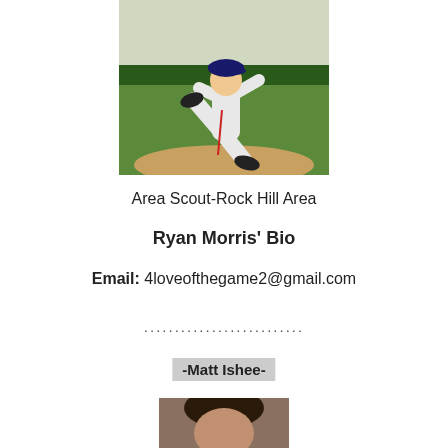[Figure (photo): A baseball pitcher in wind-up stance, wearing white uniform with dark accents, on a pitching mound with green outfield in background]
Area Scout-Rock Hill Area
Ryan Morris' Bio
Email: 4loveofthegame2@gmail.com
..........................
-Matt Ishee-
[Figure (photo): Partial photo of a person, likely Matt Ishee, cropped at bottom of page]